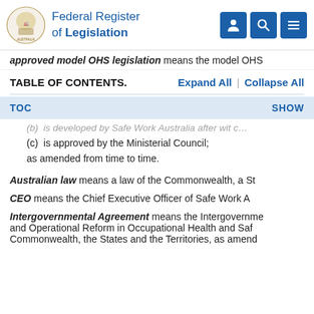Federal Register of Legislation
approved model OHS legislation means the model OHS
TABLE OF CONTENTS.    Expand All  |  Collapse All
TOC    SHOW
(c)  is approved by the Ministerial Council;
as amended from time to time.
Australian law means a law of the Commonwealth, a St
CEO means the Chief Executive Officer of Safe Work A
Intergovernmental Agreement means the Intergovernmental and Operational Reform in Occupational Health and Saf Commonwealth, the States and the Territories, as amend